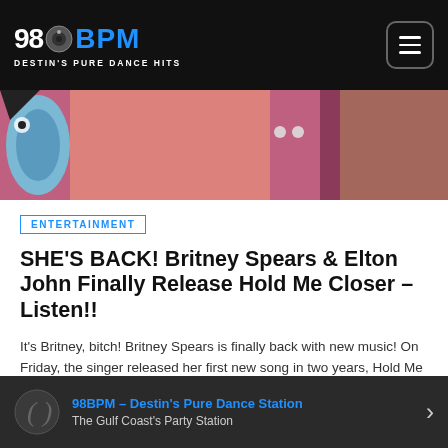98BPM - DESTIN'S PURE DANCE HITS
[Figure (photo): Hero image showing a person in pink/colorful clothing, partial view, with a decorative fish/toy visible on the left side]
ENTERTAINMENT
SHE'S BACK! Britney Spears & Elton John Finally Release Hold Me Closer – Listen!!
It's Britney, bitch! Britney Spears is finally back with new music! On Friday, the singer released her first new song in two years, Hold Me Closer — an upbeat duet with the legendary Elton John! Such an iconic way to return! The track is an updated rendition of Elton's beloved 1972 hit, Tiny Dancer. In a statement about the exciting collaboration, the musician revealed why he thought Brit would make the […]
98BPM – Destin's Pure Dance Station | The Gulf Coast's Party Station